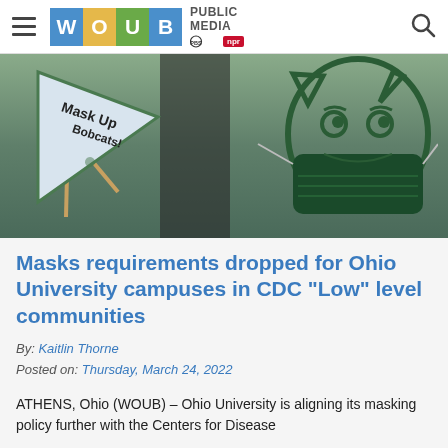WOUB PUBLIC MEDIA PBS NPR
[Figure (photo): Photo of a triangular pennant flag reading 'Mask Up Bobcats!' and a cutout of the Ohio University Bobcat mascot wearing a dark green face mask, outdoor setting.]
Masks requirements dropped for Ohio University campuses in CDC “Low” level communities
By: Kaitlin Thorne
Posted on: Thursday, March 24, 2022
ATHENS, Ohio (WOUB) – Ohio University is aligning its masking policy further with the Centers for Disease